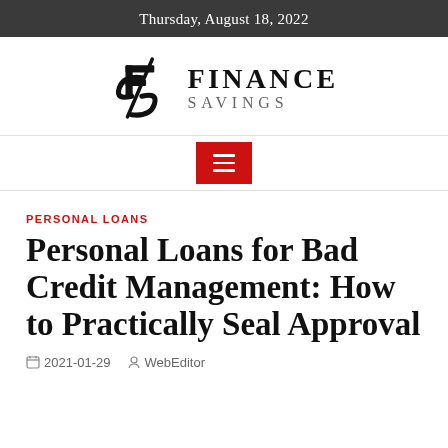Thursday, August 18, 2022
[Figure (logo): Finance Savings logo with stylized FS monogram and text FINANCE SAVINGS]
[Figure (other): Red hamburger menu button with three white lines]
PERSONAL LOANS
Personal Loans for Bad Credit Management: How to Practically Seal Approval
2021-01-29   WebEditor